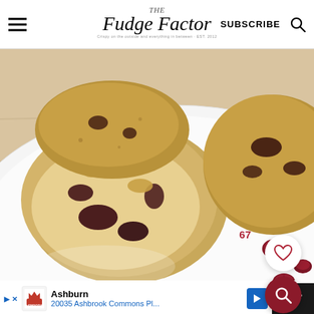The Fudge Factor — SUBSCRIBE
[Figure (photo): Close-up photo of cranberry walnut muffins split open on a white plate, with dried cranberries scattered on a wooden cutting board background]
67
Ashburn
20035 Ashbrook Commons Pl...